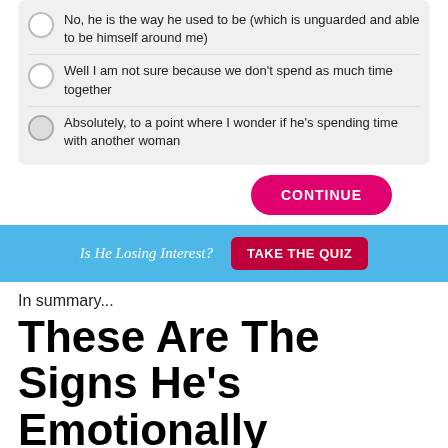No, he is the way he used to be (which is unguarded and able to be himself around me)
Well I am not sure because we don't spend as much time together
Absolutely, to a point where I wonder if he's spending time with another woman
[Figure (screenshot): CONTINUE button (pink/magenta rounded rectangle)]
[Figure (infographic): Blue banner with 'Is He Losing Interest?' text and 'TAKE THE QUIZ' button]
In summary...
These Are The Signs He's Emotionally Unavailable
1. He can't have serious conversations
2. He says he loves you but he's scared of commitment
3. He has a lot of anger (and this is the emotion he's most